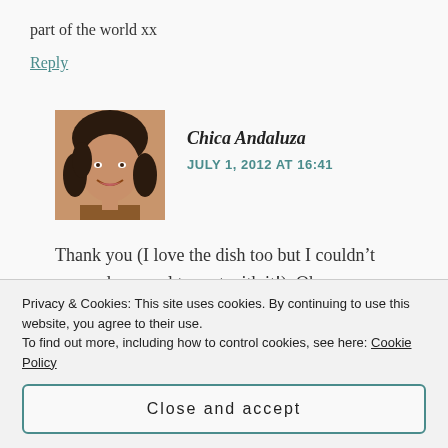part of the world xx
Reply
Chica Andaluza
JULY 1, 2012 AT 16:41
[Figure (photo): Profile photo of a woman with dark hair, smiling]
Thank you (I love the dish too but I couldn’t persuade my pal to part with it!). Oh yes, summer is here, it’s hot, hot, hot!
Privacy & Cookies: This site uses cookies. By continuing to use this website, you agree to their use.
To find out more, including how to control cookies, see here: Cookie Policy
Close and accept